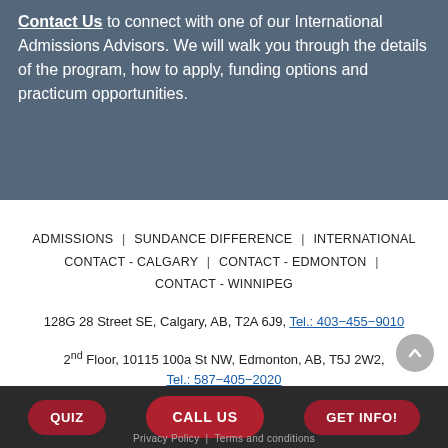Contact Us to connect with one of our International Admissions Advisors. We will walk you through the details of the program, how to apply, funding options and practicum opportunities.
ADMISSIONS | SUNDANCE DIFFERENCE | INTERNATIONAL CONTACT - CALGARY | CONTACT - EDMONTON | CONTACT - WINNIPEG
128G 28 Street SE, Calgary, AB, T2A 6J9, Tel.: 403-455-9010
2nd Floor, 10115 100a St NW, Edmonton, AB, T5J 2W2, Tel.: 587-405-2020
310 Broadway Avenue, Winnipeg, MB, R3C 1L6, Tel.: 431-800-3997
QUIZ | CALL US | GET INFO! | Privacy Policy | Terms and conditions